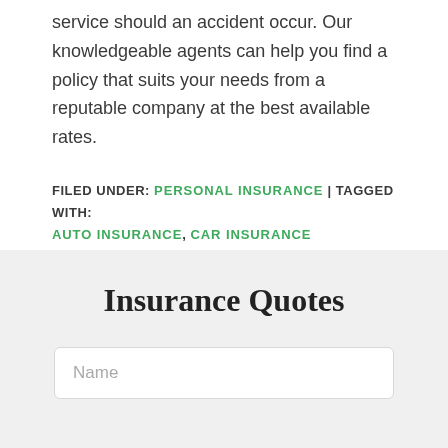service should an accident occur. Our knowledgeable agents can help you find a policy that suits your needs from a reputable company at the best available rates.
FILED UNDER: PERSONAL INSURANCE | TAGGED WITH: AUTO INSURANCE, CAR INSURANCE
Insurance Quotes
Name